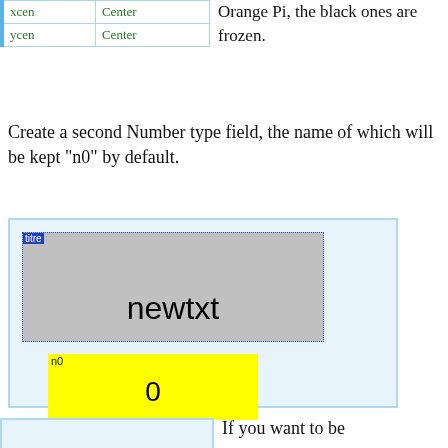| xcen | Center |
| ycen | Center |
Orange Pi, the black ones are frozen.
Create a second Number type field, the name of which will be kept “no” by default.
[Figure (screenshot): Screenshot of a GUI designer showing a grey 'newtxt' text widget with a blue dotted border and 'titre' label highlighted in blue at top-left, and below it a yellow 'n0' number field showing the value 0.]
If you want to be